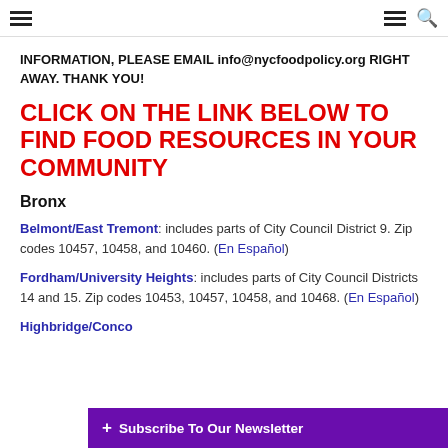navigation header with hamburger menu and search icon
INFORMATION, PLEASE EMAIL info@nycfoodpolicy.org RIGHT AWAY. THANK YOU!
CLICK ON THE LINK BELOW TO FIND FOOD RESOURCES IN YOUR COMMUNITY
Bronx
Belmont/East Tremont: includes parts of City Council District 9. Zip codes 10457, 10458, and 10460. (En Español)
Fordham/University Heights: includes parts of City Council Districts 14 and 15. Zip codes 10453, 10457, 10458, and 10468. (En Español)
Highbridge/Conco...
+ Subscribe To Our Newsletter